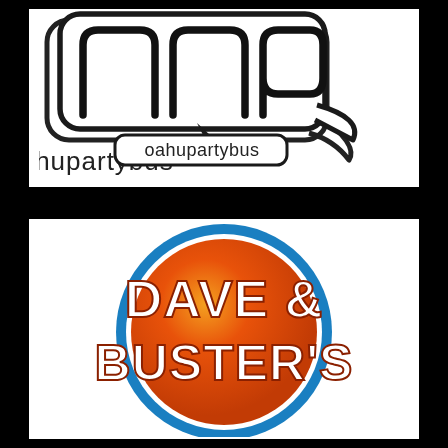[Figure (logo): Oahu Party Bus logo: stylized 'opb' letters in rounded speech-bubble shape with 'oahupartybus' text below in a speech bubble tail]
[Figure (logo): Dave & Buster's logo: circular badge with blue outer ring, white inner ring, orange/red gradient center sphere, white bold text reading DAVE & BUSTER'S]